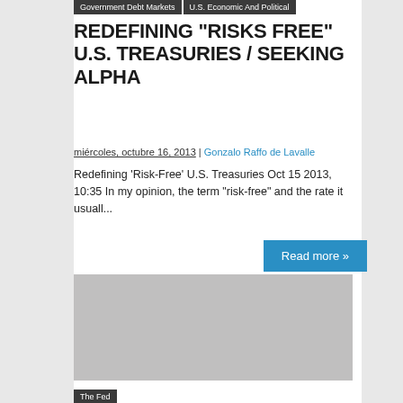Government Debt Markets | U.S. Economic And Political
REDEFINING "RISKS FREE" U.S. TREASURIES / SEEKING ALPHA
miércoles, octubre 16, 2013 | Gonzalo Raffo de Lavalle
Redefining 'Risk-Free' U.S. Treasuries Oct 15 2013, 10:35 In my opinion, the term "risk-free" and the rate it usuall...
[Figure (photo): Gray placeholder image for article illustration]
The Fed
THE FEDERAL RESERVE'S